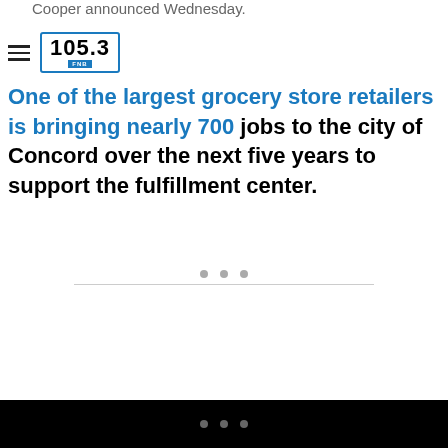Cooper announced Wednesday.
[Figure (logo): 105.3 FNB radio station logo in a blue-bordered box]
One of the largest grocery store retailers is bringing nearly 700 jobs to the city of Concord over the next five years to support the fulfillment center.